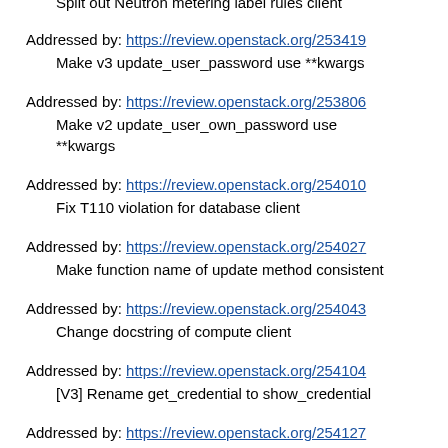Split out Neutron metering label rules client
Addressed by: https://review.openstack.org/253419
Make v3 update_user_password use **kwargs
Addressed by: https://review.openstack.org/253806
Make v2 update_user_own_password use **kwargs
Addressed by: https://review.openstack.org/254010
Fix T110 violation for database client
Addressed by: https://review.openstack.org/254027
Make function name of update method consistent
Addressed by: https://review.openstack.org/254043
Change docstring of compute client
Addressed by: https://review.openstack.org/254104
[V3] Rename get_credential to show_credential
Addressed by: https://review.openstack.org/254127
[V3] Rename get_policy to show_policy
Addressed by: https://review.openstack.org/254133
[V3] Rename get_region to show_region